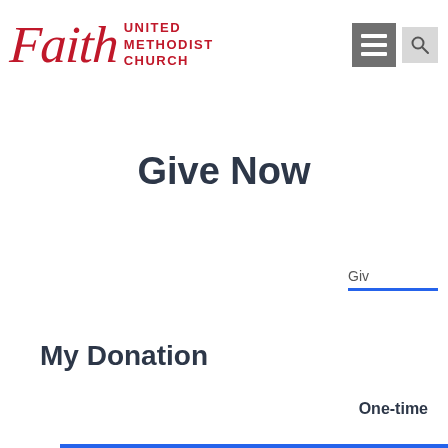[Figure (logo): Faith United Methodist Church logo with red cursive 'Faith' text and bold red stacked text 'UNITED METHODIST CHURCH']
[Figure (other): Gray hamburger menu icon (three horizontal white bars on gray background)]
[Figure (other): Gray search/magnifier icon button]
Give Now
Giv
My Donation
One-time